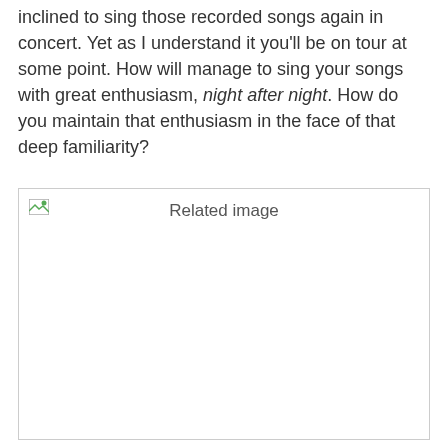recording was so great and so draining that she was not inclined to sing those recorded songs again in concert. Yet as I understand it you'll be on tour at some point. How will manage to sing your songs with great enthusiasm, night after night. How do you maintain that enthusiasm in the face of that deep familiarity?
[Figure (photo): A broken/missing image placeholder with the label 'Related image' centered inside a bordered rectangle.]